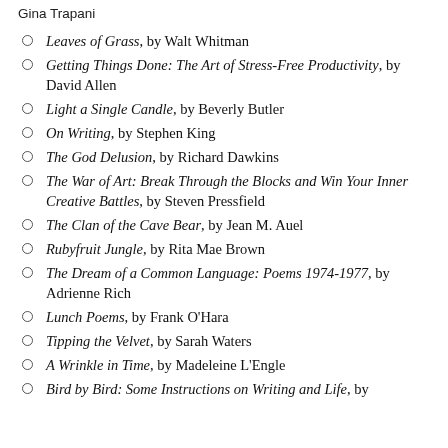Gina Trapani
Leaves of Grass, by Walt Whitman
Getting Things Done: The Art of Stress-Free Productivity, by David Allen
Light a Single Candle, by Beverly Butler
On Writing, by Stephen King
The God Delusion, by Richard Dawkins
The War of Art: Break Through the Blocks and Win Your Inner Creative Battles, by Steven Pressfield
The Clan of the Cave Bear, by Jean M. Auel
Rubyfruit Jungle, by Rita Mae Brown
The Dream of a Common Language: Poems 1974-1977, by Adrienne Rich
Lunch Poems, by Frank O'Hara
Tipping the Velvet, by Sarah Waters
A Wrinkle in Time, by Madeleine L'Engle
Bird by Bird: Some Instructions on Writing and Life, by...